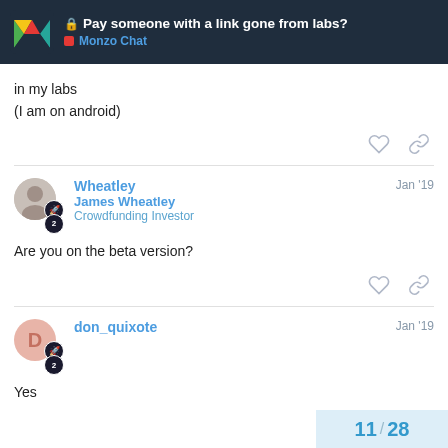Pay someone with a link gone from labs? | Monzo Chat
in my labs
(I am on android)
Wheatley | James Wheatley | Crowdfunding Investor | Jan '19
Are you on the beta version?
don_quixote | Jan '19
Yes
11 / 28